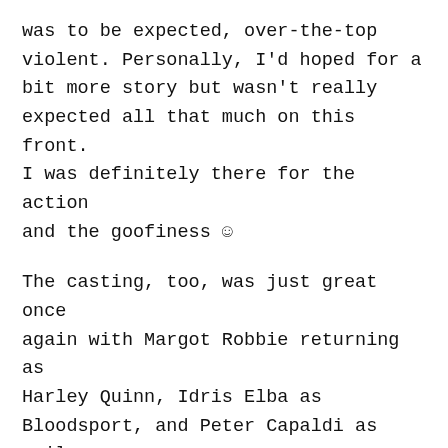was to be expected, over-the-top violent. Personally, I'd hoped for a bit more story but wasn't really expected all that much on this front. I was definitely there for the action and the goofiness ☺
The casting, too, was just great once again with Margot Robbie returning as Harley Quinn, Idris Elba as Bloodsport, and Peter Capaldi as evil scientist Gaius Grieves. Nathan Fillion also had a short role as T.D.K.. I could have done, though, without the underwear scene with john